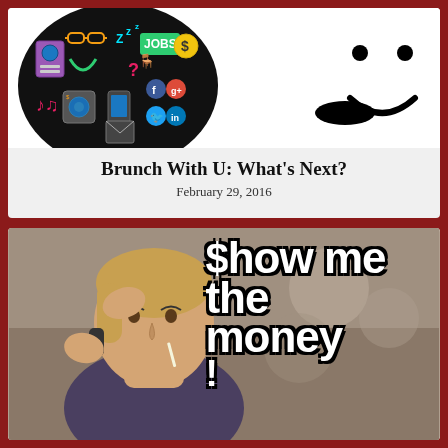[Figure (illustration): Top card with black circle containing colorful lifestyle/career icons (passport, glasses, road, ZZZ, JOBS, dollar sign, music notes, washing machine, phone, social media icons, question mark, person at desk) and a partial white smiley face on the right side]
Brunch With U: What's Next?
February 29, 2016
[Figure (photo): Meme image of a stressed man on the phone with text overlay '$how me the money!' in large bold Impact-style font with black outline]